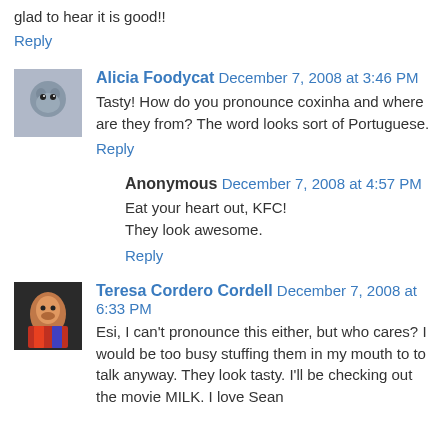glad to hear it is good!!
Reply
Alicia Foodycat December 7, 2008 at 3:46 PM
Tasty! How do you pronounce coxinha and where are they from? The word looks sort of Portuguese.
Reply
Anonymous December 7, 2008 at 4:57 PM
Eat your heart out, KFC!
They look awesome.
Reply
Teresa Cordero Cordell December 7, 2008 at 6:33 PM
Esi, I can't pronounce this either, but who cares? I would be too busy stuffing them in my mouth to to talk anyway. They look tasty. I'll be checking out the movie MILK. I love Sean